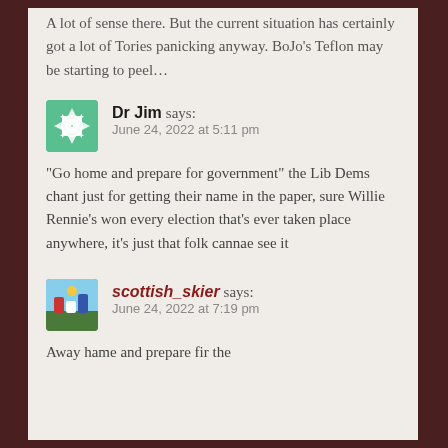A lot of sense there. But the current situation has certainly got a lot of Tories panicking anyway. BoJo's Teflon may be starting to peel…
Dr Jim says: June 24, 2022 at 5:11 pm
“Go home and prepare for government” the Lib Dems chant just for getting their name in the paper, sure Willie Rennie’s won every election that’s ever taken place anywhere, it’s just that folk cannae see it
scottish_skier says: June 24, 2022 at 7:19 pm
Away hame and prepare fir the